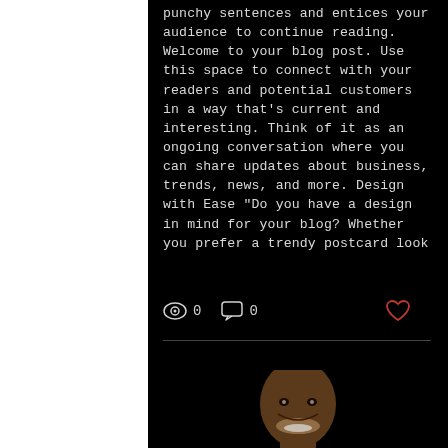punchy sentences and entices your audience to continue reading. Welcome to your blog post. Use this space to connect with your readers and potential customers in a way that's current and interesting. Think of it as an ongoing conversation where you can share updates about business, trends, news, and more. Design with Ease "Do you have a design in mind for your blog? Whether you prefer a trendy postcard look
[Figure (photo): Head shot of a smiling bald Black man, cropped at top of frame, dark background]